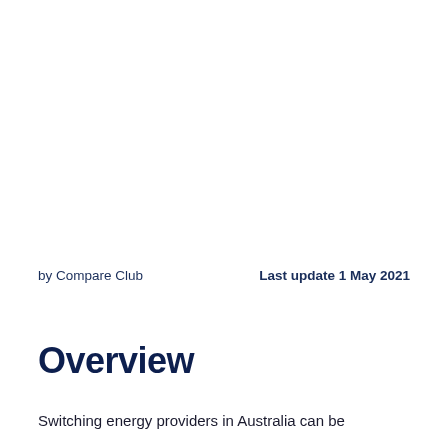by Compare Club
Last update 1 May 2021
Overview
Switching energy providers in Australia can be